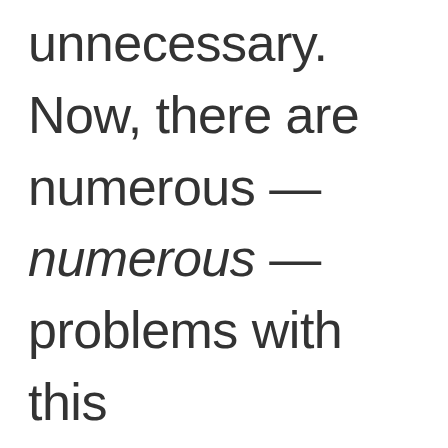unnecessary. Now, there are numerous — numerous — problems with this conception of rationality, as the